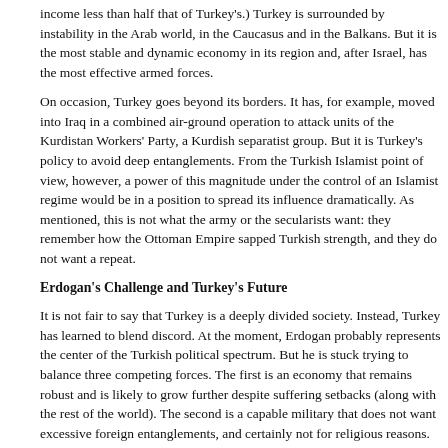income less than half that of Turkey's.) Turkey is surrounded by instability in the Arab world, in the Caucasus and in the Balkans. But it is the most stable and dynamic economy in its region and, after Israel, has the most effective armed forces.
On occasion, Turkey goes beyond its borders. It has, for example, moved into Iraq in a combined air-ground operation to attack units of the Kurdistan Workers' Party, a Kurdish separatist group. But it is Turkey's policy to avoid deep entanglements. From the Turkish Islamist point of view, however, a power of this magnitude under the control of an Islamist regime would be in a position to spread its influence dramatically. As mentioned, this is not what the army or the secularists want: they remember how the Ottoman Empire sapped Turkish strength, and they do not want a repeat.
Erdogan's Challenge and Turkey's Future
It is not fair to say that Turkey is a deeply divided society. Instead, Turkey has learned to blend discord. At the moment, Erdogan probably represents the center of the Turkish political spectrum. But he is stuck trying to balance three competing forces. The first is an economy that remains robust and is likely to grow further despite suffering setbacks (along with the rest of the world). The second is a capable military that does not want excessive foreign entanglements, and certainly not for religious reasons. And the third is an Islamist movement that wants to see Turkey as part of the Islamic world — and perhaps even the leader of that world.
Erdogan does not want to weaken the Turkish economy, and he sees radical Islamist ideas as endangering Turkey's middle class. He wants to placate the